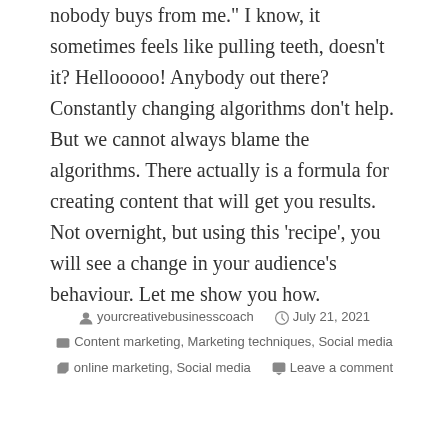nobody buys from me." I know, it sometimes feels like pulling teeth, doesn't it? Hellooooo! Anybody out there? Constantly changing algorithms don't help. But we cannot always blame the algorithms. There actually is a formula for creating content that will get you results. Not overnight, but using this 'recipe', you will see a change in your audience's behaviour. Let me show you how.
yourcreativebusinesscoach   July 21, 2021   Content marketing, Marketing techniques, Social media   online marketing, Social media   Leave a comment